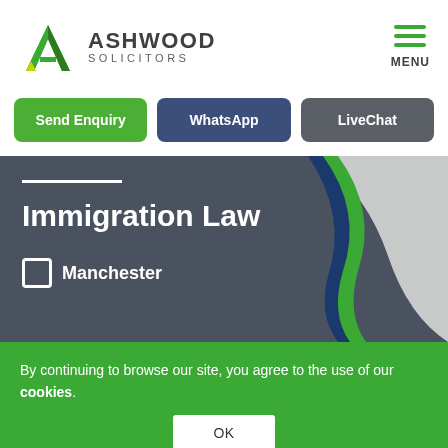[Figure (logo): Ashwood Solicitors logo with green/yellow triangular A icon and company name]
[Figure (illustration): Hamburger menu icon with three green lines and MENU label]
Send Enquiry
WhatsApp
LiveChat
[Figure (illustration): Dark grey hero banner with green/blue wave decoration on right side]
Immigration Law
Manchester
By continuing to browse our site, you agree to the use of our cookies.
OK